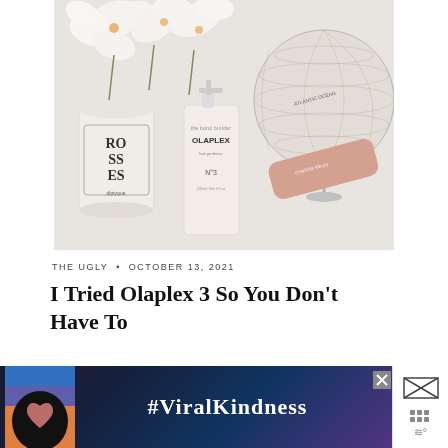[Figure (photo): Flatlay product photo with Diptyque Roses candle, Olaplex No.3 Hair Perfector bottle, a vintage globe, white orchid flowers, and a pink cylindrical beauty product on a light background]
THE UGLY  •  OCTOBER 13, 2021
I Tried Olaplex 3 So You Don't Have To
[Figure (screenshot): Advertisement banner with dark gradient background showing hands forming a heart shape silhouette against a colorful sky, with text #ViralKindness in white serif font. Close button X visible. Side panel with grid icon and wave symbol visible at right.]